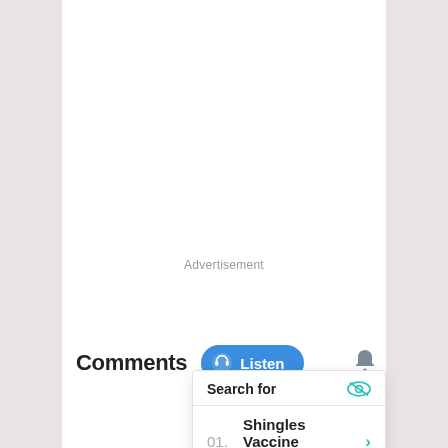Advertisement
Comments
[Figure (screenshot): Blue Listen button with headphone icon]
[Figure (screenshot): Bell/notification icon]
Search for
01. Shingles Vaccine Information
02. Shingles Vaccine Side Effects
Yahoo! Search | Sponsored